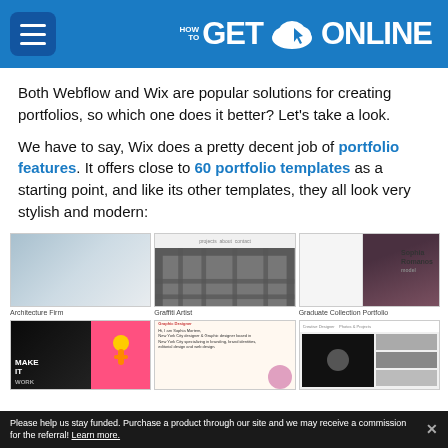HOW TO GET ONLINE
Both Webflow and Wix are popular solutions for creating portfolios, so which one does it better? Let’s take a look.
We have to say, Wix does a pretty decent job of portfolio features. It offers close to 60 portfolio templates as a starting point, and like its other templates, they all look very stylish and modern:
[Figure (screenshot): Gallery of Wix portfolio templates including Architecture Firm (SA logo), Graffiti Artist, Graduate Collection Portfolio, Make/Work dark design, a Designer personal page, and a Creative portfolio]
Please help us stay funded. Purchase a product through our site and we may receive a commission for the referral! Learn more.